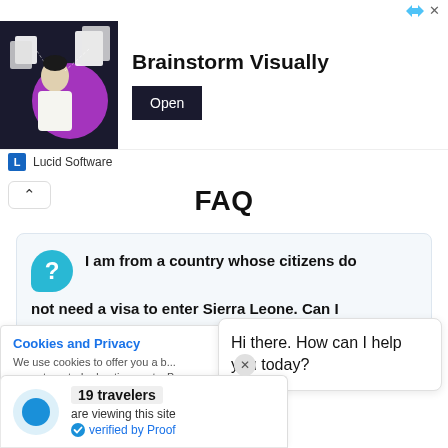[Figure (illustration): Advertisement banner for Lucid Software showing a person with documents, text 'Brainstorm Visually' and an 'Open' button]
FAQ
I am from a country whose citizens do not need a visa to enter Sierra Leone. Can I
Cookies and Privacy
We use cookies to offer you a b... serve targeted advertisements. By continuing to use this website, you
Hi there. How can I help you today?
19 travelers
are viewing this site
verified by Proof